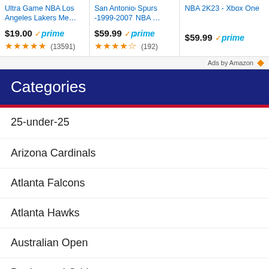[Figure (screenshot): Amazon ad cards showing three products: Ultra Game NBA Los Angeles Lakers Me... at $19.00 with Prime badge and 13591 reviews; San Antonio Spurs -1999-2007 NBA... at $59.99 with Prime badge and 192 reviews; NBA 2K23 - Xbox One at $59.99 with Prime badge. 'Ads by Amazon' label at right.]
Categories
25-under-25
Arizona Cardinals
Atlanta Falcons
Atlanta Hawks
Australian Open
Betting and Odds
Boston Celtics